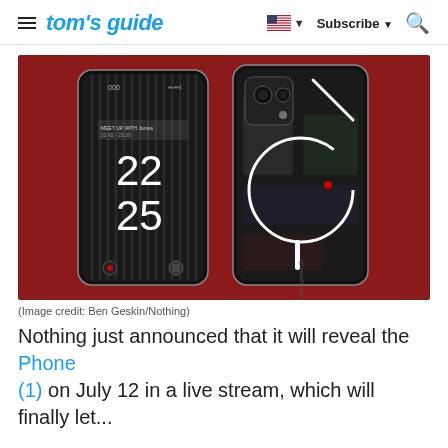tom's guide | Subscribe | Search
[Figure (photo): Two Nothing Phone (1) devices on a red background — front view showing lock screen with time 22:25, and back view showing transparent design with white geometric outlines including a circle and lines]
(Image credit: Ben Geskin/Nothing)
Nothing just announced that it will reveal the Phone (1) on July 12 in a live stream, which will finally let...